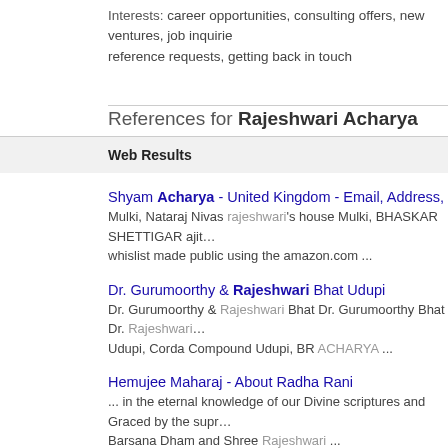Interests: career opportunities, consulting offers, new ventures, job inquiries, reference requests, getting back in touch
References for Rajeshwari Acharya
Web Results
Shyam Acharya - United Kingdom - Email, Address, Phone num…
Mulki, Nataraj Nivas rajeshwari's house Mulki, BHASKAR SHETTIGAR ajit… whislist made public using the amazon.com ...
Dr. Gurumoorthy & Rajeshwari Bhat Udupi
Dr. Gurumoorthy & Rajeshwari Bhat Dr. Gurumoorthy Bhat Dr. Rajeshwari… Udupi, Corda Compound Udupi, BR ACHARYA ...
Hemujee Maharaj - About Radha Rani
... in the eternal knowledge of our Divine scriptures and Graced by the supr… Barsana Dham and Shree Rajeshwari ...